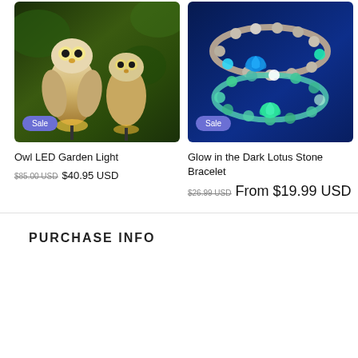[Figure (photo): Two owl LED garden light figurines perched on stakes, glowing with warm light, outdoors with green foliage background. Sale badge visible.]
[Figure (photo): Two glow-in-the-dark lotus stone bracelets with glowing blue and green beads and lotus pendants on blue background. Sale badge visible.]
Owl LED Garden Light
$85.00 USD  $40.95 USD
Glow in the Dark Lotus Stone Bracelet
$26.99 USD  From $19.99 USD
PURCHASE INFO